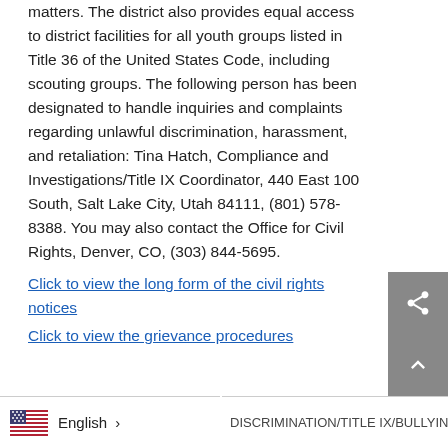matters. The district also provides equal access to district facilities for all youth groups listed in Title 36 of the United States Code, including scouting groups. The following person has been designated to handle inquiries and complaints regarding unlawful discrimination, harassment, and retaliation: Tina Hatch, Compliance and Investigations/Title IX Coordinator, 440 East 100 South, Salt Lake City, Utah 84111, (801) 578-8388. You may also contact the Office for Civil Rights, Denver, CO, (303) 844-5695.
Click to view the long form of the civil rights notices
Click to view the grievance procedures
English  >   DISCRIMINATION/TITLE IX/BULLYIN...